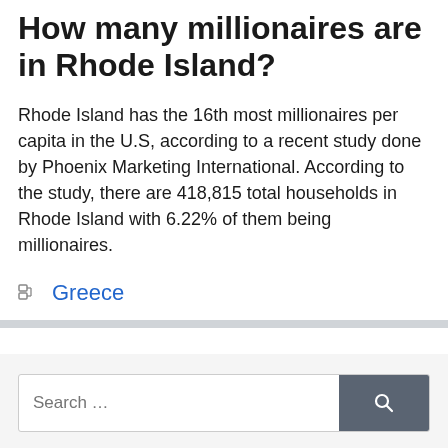How many millionaires are in Rhode Island?
Rhode Island has the 16th most millionaires per capita in the U.S, according to a recent study done by Phoenix Marketing International. According to the study, there are 418,815 total households in Rhode Island with 6.22% of them being millionaires.
Categories: Greece
Search …